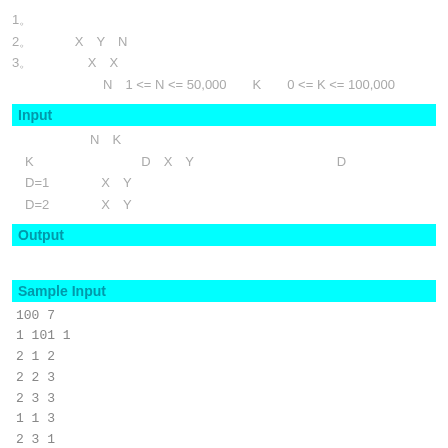1。
2。 　　　X　Y　N
3。 　　　　X　X
N　1 <= N <= 50,000　　K　　0 <= K <= 100,000
Input
N　K
K　　　　　　　　 D　X　Y　　　　　　　　　　　　　D
D=1　　　　X　Y
D=2　　　　X　Y
Output
Sample Input
100 7
1 101 1
2 1 2
2 2 3
2 3 3
1 1 3
2 3 1
1 5 5